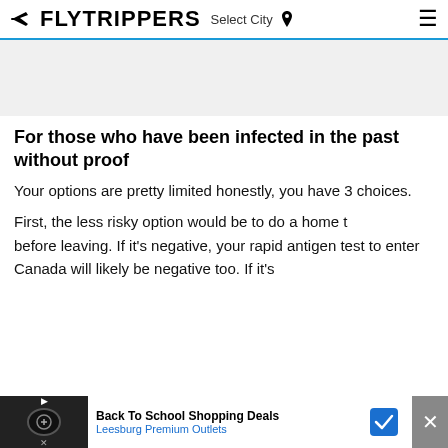FLYTRIPPERS Select City
[Figure (other): Gray banner/advertisement placeholder area]
For those who have been infected in the past without proof
Your options are pretty limited honestly, you have 3 choices.
First, the less risky option would be to do a home t[est] before leaving. If it's negative, your rapid antigen test to enter Canada will likely be negative too. If it's pos[itive]...
[Figure (other): Bottom advertisement bar: Back To School Shopping Deals, Leesburg Premium Outlets]